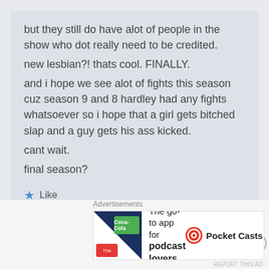but they still do have alot of people in the show who dot really need to be credited.
new lesbian?! thats cool. FINALLY.
and i hope we see alot of fights this season cuz season 9 and 8 hardley had any fights whatsoever so i hope that a girl gets bitched slap and a guy gets his ass kicked.
cant wait.
final season?
★ Like
Reply
Advertisements
[Figure (infographic): Pocket Casts advertisement banner: logo image on left, text 'The go-to app for podcast lovers.' in center, Pocket Casts brand name and icon on right.]